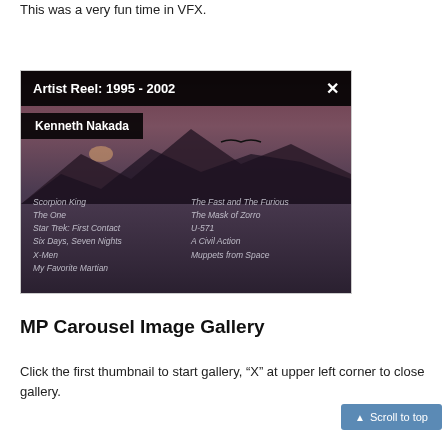This was a very fun time in VFX.
[Figure (screenshot): A video player overlay showing 'Artist Reel: 1995 - 2002' by Kenneth Nakada. Background shows a mountain silhouette at dusk with a flying creature. Credits list: Scorpion King, The One, Star Trek: First Contact, Six Days Seven Nights, X-Men, My Favorite Martian, The Fast and The Furious, The Mask of Zorro, U-571, A Civil Action, Muppets from Space. A close (X) button is in the upper right.]
MP Carousel Image Gallery
Click the first thumbnail to start gallery, “X” at upper left corner to close gallery.